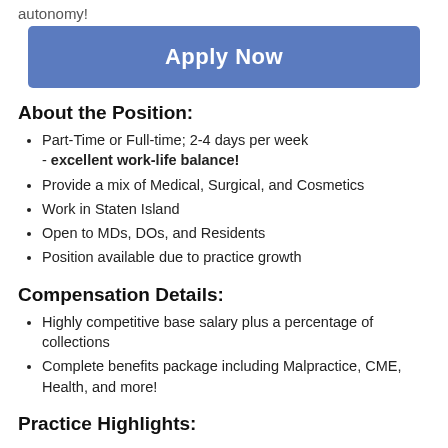autonomy!
[Figure (other): Apply Now button (blue background, white bold text)]
About the Position:
Part-Time or Full-time; 2-4 days per week - excellent work-life balance!
Provide a mix of Medical, Surgical, and Cosmetics
Work in Staten Island
Open to MDs, DOs, and Residents
Position available due to practice growth
Compensation Details:
Highly competitive base salary plus a percentage of collections
Complete benefits package including Malpractice, CME, Health, and more!
Practice Highlights: